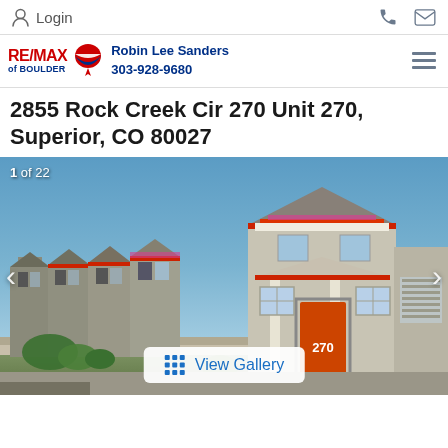Login
[Figure (logo): RE/MAX of Boulder logo with Robin Lee Sanders agent info and phone 303-928-9680]
2855 Rock Creek Cir 270 Unit 270, Superior, CO 80027
[Figure (photo): Exterior photo of townhomes at 2855 Rock Creek Cir 270, showing row of homes with red trim accents, blue sky, red front door marked 270. Counter shows 1 of 22. View Gallery button overlaid at bottom.]